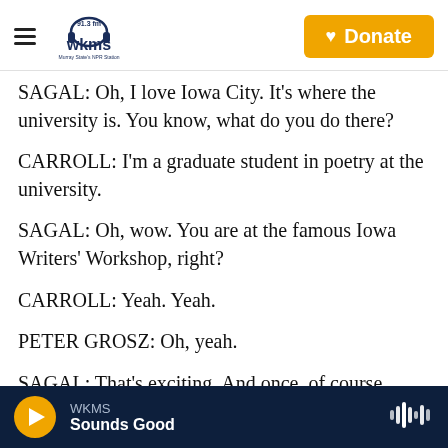WKMS 91.3 fm — Murray State's NPR Station | Donate
SAGAL: Oh, I love Iowa City. It's where the university is. You know, what do you do there?
CARROLL: I'm a graduate student in poetry at the university.
SAGAL: Oh, wow. You are at the famous Iowa Writers' Workshop, right?
CARROLL: Yeah. Yeah.
PETER GROSZ: Oh, yeah.
SAGAL: That's exciting. And once, of course,
WKMS — Sounds Good